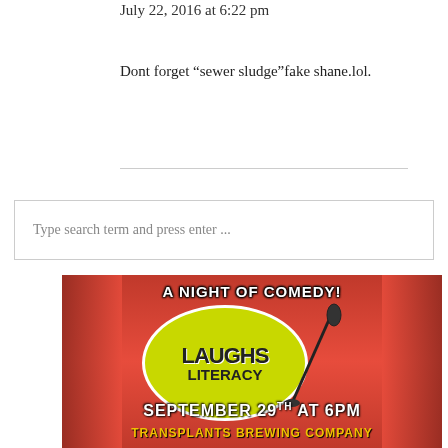July 22, 2016 at 6:22 pm
Dont forget “sewer sludge”fake shane.lol.
Type search term and press enter ...
[Figure (illustration): Event advertisement for 'A Night of Comedy! Laughs 4 Literacy' on September 29th at 6pm at Transplants Brewing Company, with red curtain background and yellow circle logo featuring a microphone.]